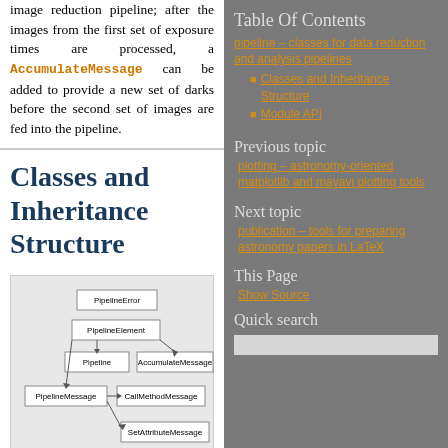image reduction pipeline; after the images from the first set of exposure times are processed, a AccumulateMessage can be added to provide a new set of darks before the second set of images are fed into the pipeline.
Classes and Inheritance Structure
[Figure (other): Inheritance diagram showing PipelineError, PipelineElement, Pipeline, AccumulateMessage, PipelineMessage, CallMethodMessage, SetAttributeMessage class hierarchy]
Table Of Contents
pipeline – classes for data reduction and analysis pipelines
Classes and Inheritance Structure
Module API
Previous topic
plotting – astronomy-oriented matplotlib and mayavi plotting tools
Next topic
publication – tools for preparing astronomy papers in LaTeX
This Page
Show Source
Quick search